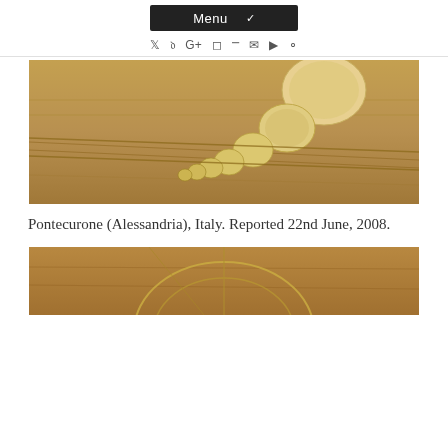Menu (navigation bar with social icons: Twitter, Facebook, Google+, Instagram, RSS, Email, YouTube, Pinterest)
[Figure (photo): Aerial photograph of a crop circle formation in a golden wheat field. Shows a series of circular flattened areas of decreasing size arranged in a curved arc pattern, visible from above. Field shows tractor lines running horizontally.]
Pontecurone (Alessandria), Italy. Reported 22nd June, 2008.
[Figure (photo): Partial aerial photograph of another crop circle formation in a reddish-golden field, showing curved arcs and circular patterns, partially visible at the bottom of the page.]